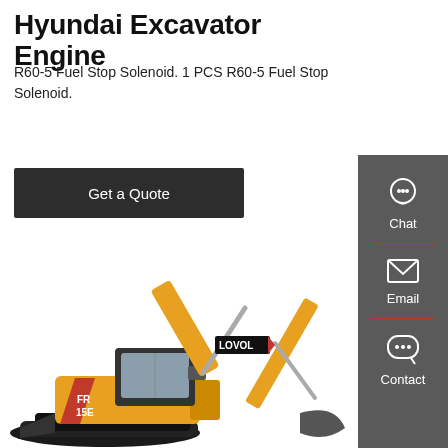Hyundai Excavator Engine
R60-5 Fuel Stop Solenoid. 1 PCS R60-5 Fuel Stop Solenoid.
[Figure (other): Dark grey 'Get a Quote' button]
[Figure (photo): Yellow LOVOL tracked excavator with boom, arm and bucket extended, shown on white background. Label 'FR 15E' visible on side.]
[Figure (infographic): Dark grey sidebar with Chat (headset icon), Email (envelope icon), and Contact (speech bubble icon) buttons separated by red dividers.]